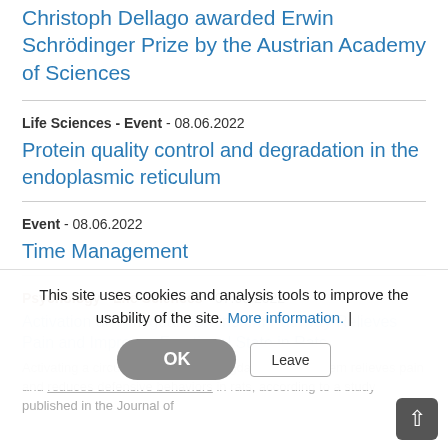Christoph Dellago awarded Erwin Schrödinger Prize by the Austrian Academy of Sciences
Life Sciences - Event - 08.06.2022
Protein quality control and degradation in the endoplasmic reticulum
Event - 08.06.2022
Time Management
Psychology - Life Sciences - 07.06.2022
Activation an Amygdala-Brainstem Pathway Relieves Pain and Improves Emotional State in Rats
Activating a circuit between the amygdala and brainstem relieves pain and reduces defensive behaviors in rats, according to a study published in the Journal of
This site uses cookies and analysis tools to improve the usability of the site. More information. |